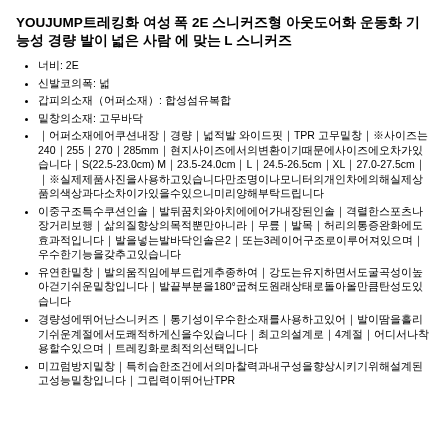YOUJUMP트레킹화 여성 폭 2E 스니커즈형 아웃도어화 운동화 기능성 경량 발이 넓은 사람 에 맞는 L 스니커즈
너비: 2E
신발코의폭: 넓
갑피의소재（어퍼소재）: 합성섬유복합
밑창의소재: 고무바닥
｜어퍼소재에어쿠션내장｜경량｜넓적발 와이드핏｜TPR 고무밑창｜※사이즈는240｜255｜270｜285mm｜현지사이즈에서의변환이기때문에사이즈에오차가있습니다｜S(22.5-23.0cm) M｜23.5-24.0cm｜L｜24.5-26.5cm｜XL｜27.0-27.5cm｜｜※실제제품사진을사용하고있습니다만조명이나모니터의개인차에의해실제상품의색상과다소차이가있을수있으니미리양해부탁드립니다
이중구조특수쿠션인솔｜발뒤꿈치와아치에에어가내장된인솔｜격렬한스포츠나장거리보행｜삶의질향상의목적뿐만아니라｜무릎｜발목｜허리의통증완화에도효과적입니다｜발을넣는발바닥인솔은2｜또는3레이어구조로이루어져있으며｜우수한기능을갖추고있습니다
유연한밑창｜발의움직임에부드럽게추종하여｜강도는유지하면서도굴곡성이높아걷기쉬운밑창입니다｜발끝부분을180°굽혀도원래상태로돌아올만큼탄성도있습니다
경량성에뛰어난스니커즈｜통기성이우수한소재를사용하고있어｜발이땀을흘리기쉬운계절에서도쾌적하게신을수있습니다｜최고의설계로｜4계절｜어디서나착용할수있으며｜트레킹화로최적의선택입니다
미끄럼방지밑창｜특히습한조건에서의마찰력과내구성을향상시키기위해설계된고성능밑창입니다｜그립력이뛰어난TPR